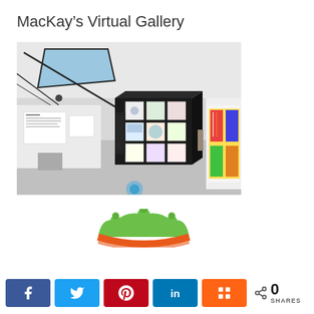MacKay’s Virtual Gallery
[Figure (photo): Interior view of a virtual 3D art gallery with a black display cube showing artwork grids, white walls, skylight ceiling, and colorful artwork on the right wall.]
[Figure (logo): Partial view of a crown-shaped logo in green and orange/red colors.]
< 0 SHARES